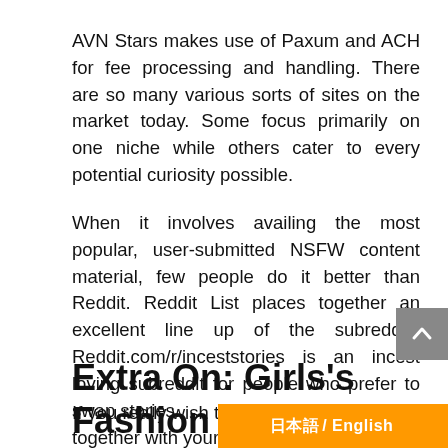AVN Stars makes use of Paxum and ACH for fee processing and handling. There are so many various sorts of sites on the market today. Some focus primarily on one niche while others cater to every potential curiosity possible.
When it involves availing the most popular, user-submitted NSFW content material, few people do it better than Reddit. Reddit List places together an excellent line up of the subredd… Reddit.com/r/inceststories is an incest loving subreddit for people who prefer to swap stories.
Extra On: Girls's Fashion
If you really wish to make together with your porn site